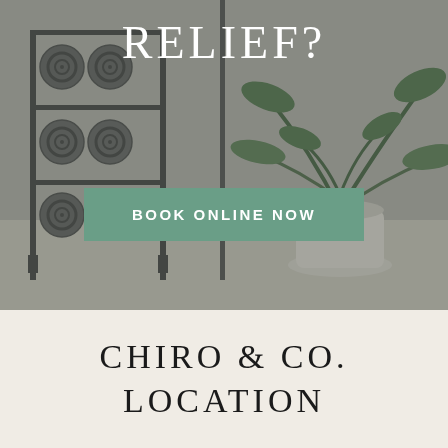[Figure (photo): Background photo of a chiropractic/wellness studio showing rolled yoga mats on a metal rack on the left and a potted green plant in a white pot on the right, with a muted grey-green overlay. Text 'RELIEF?' appears at the top center and a teal 'BOOK ONLINE NOW' button overlaid in the center.]
RELIEF?
BOOK ONLINE NOW
CHIRO & CO.
LOCATION